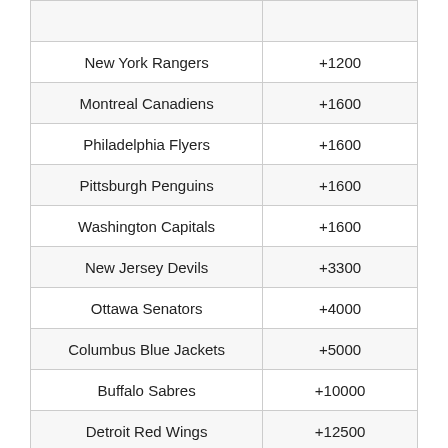| Team | Odds |
| --- | --- |
| New York Rangers | +1200 |
| Montreal Canadiens | +1600 |
| Philadelphia Flyers | +1600 |
| Pittsburgh Penguins | +1600 |
| Washington Capitals | +1600 |
| New Jersey Devils | +3300 |
| Ottawa Senators | +4000 |
| Columbus Blue Jackets | +5000 |
| Buffalo Sabres | +10000 |
| Detroit Red Wings | +12500 |